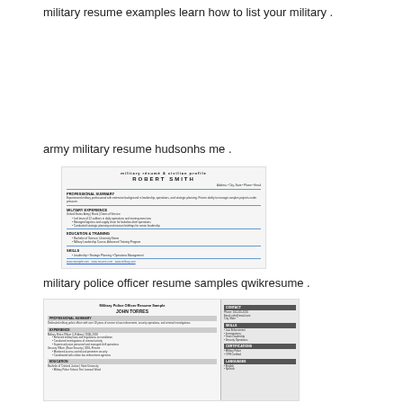military resume examples learn how to list your military .
[Figure (illustration): Thumbnail of an army military resume document for Robert Smith, showing a formatted resume with multiple sections and blue horizontal rules.]
army military resume hudsonhs me .
[Figure (illustration): Thumbnail of a military police officer resume sample from qwikresume, featuring a two-column layout with a grey right sidebar and grey footer bar.]
military police officer resume samples qwikresume .